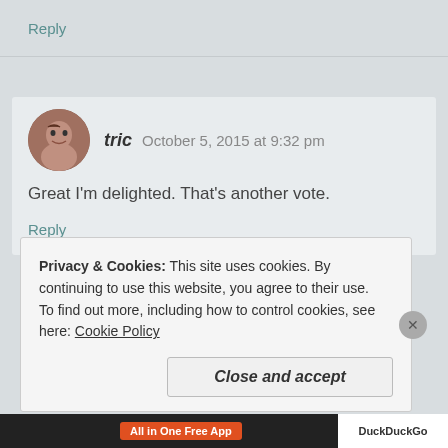Reply
tric   October 5, 2015 at 9:32 pm
Great I'm delighted. That's another vote.
Reply
Privacy & Cookies: This site uses cookies. By continuing to use this website, you agree to their use.
To find out more, including how to control cookies, see here: Cookie Policy
Close and accept